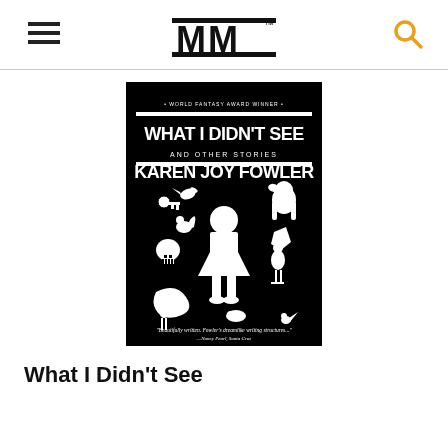MM (logo header with hamburger menu and search icon)
[Figure (photo): Book cover of 'What I Didn't See and Other Stories' by Karen Joy Fowler. Black background with white silhouette of a girl surrounded by silhouettes of various animals and symbolic objects including birds, a skull, a key, and other creatures. Text at top reads 'WHAT I DIDN'T SEE AND OTHER STORIES KAREN JOY FOWLER'. Small text at bottom reads a quote.]
What I Didn't See